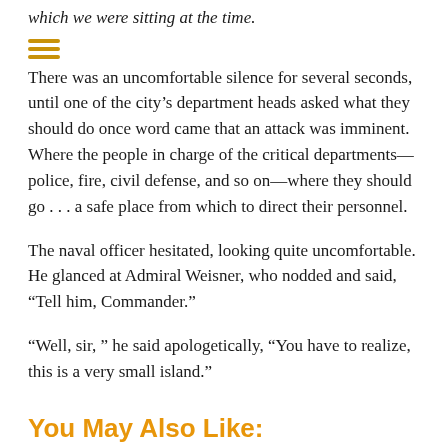which we were sitting at the time.
[Figure (other): Hamburger menu icon (three horizontal orange lines)]
There was an uncomfortable silence for several seconds, until one of the city’s department heads asked what they should do once word came that an attack was imminent. Where the people in charge of the critical departments—police, fire, civil defense, and so on—where they should go . . . a safe place from which to direct their personnel.
The naval officer hesitated, looking quite uncomfortable. He glanced at Admiral Weisner, who nodded and said, “Tell him, Commander.”
“Well, sir, “ he said apologetically, “You have to realize, this is a very small island.”
You May Also Like: